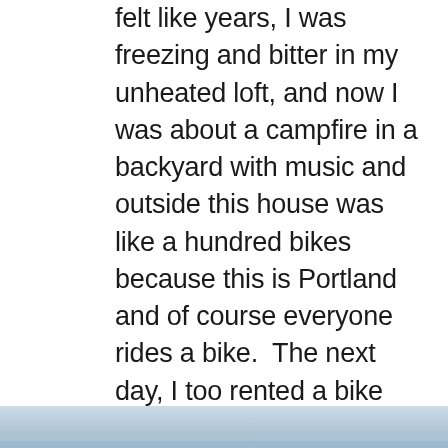felt like years, I was freezing and bitter in my unheated loft, and now I was about a campfire in a backyard with music and outside this house was like a hundred bikes because this is Portland and of course everyone rides a bike.  The next day, I too rented a bike and cycled about the city exploring this and that.  I was on a tight budget, so there wasn't too much trouble I could get into, but I did manage to buy some trinkets from a junkshop.  My friend had another party lined up, but my time was short, and I had to move on in order to cross the country before my ticket expired.
[Figure (photo): Partial bottom edge of a photo, showing a blurred blue-grey sky or water scene.]